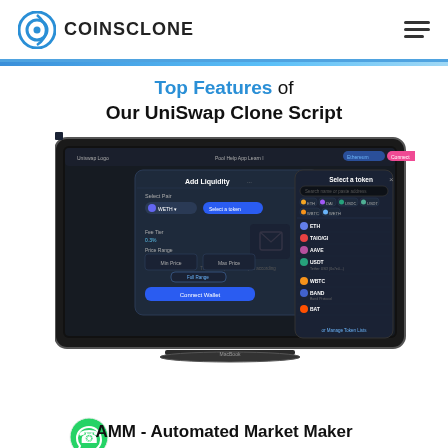COINSCLONE
Top Features of Our UniSwap Clone Script
[Figure (screenshot): Laptop screen showing a dark-themed UniSwap clone interface with 'Add Liquidity' modal and a 'Select a token' dropdown panel listing tokens like ETH, DAI, USDC, USDT, WBTC, etc.]
AMM - Automated Market Maker